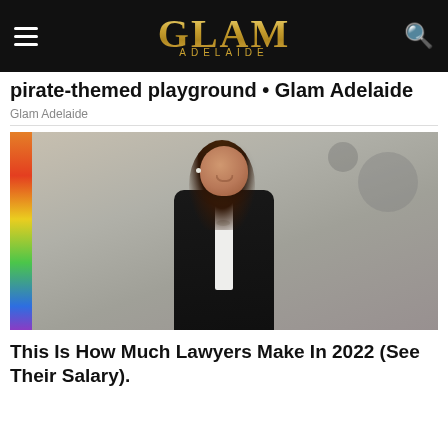GLAM ADELAIDE
pirate-themed playground • Glam Adelaide
Glam Adelaide
[Figure (photo): Professional woman in black suit standing in a modern office or glass building interior, smiling at camera, with long brown hair and pearl earrings.]
This Is How Much Lawyers Make In 2022 (See Their Salary).